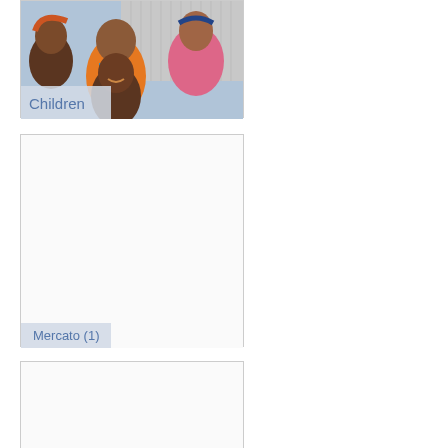[Figure (photo): Photo of smiling African children, labeled 'Children']
Children
[Figure (photo): Blank white image card labeled 'Mercato (1)']
Mercato (1)
[Figure (photo): Blank white image card at bottom of page]